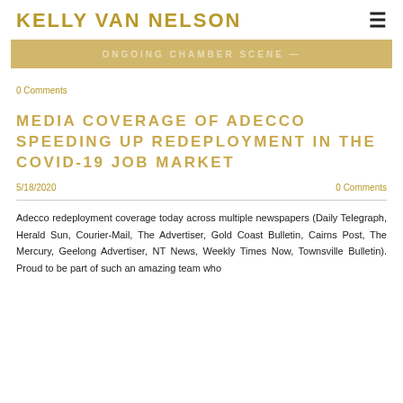KELLY VAN NELSON
[Figure (other): Gold/tan banner bar with faint strikethrough text, partially visible, appears to read something about 'CHAMBER SCENE']
0 Comments
MEDIA COVERAGE OF ADECCO SPEEDING UP REDEPLOYMENT IN THE COVID-19 JOB MARKET
5/18/2020   0 Comments
Adecco redeployment coverage today across multiple newspapers (Daily Telegraph, Herald Sun, Courier-Mail, The Advertiser, Gold Coast Bulletin, Cairns Post, The Mercury, Geelong Advertiser, NT News, Weekly Times Now, Townsville Bulletin). Proud to be part of such an amazing team who